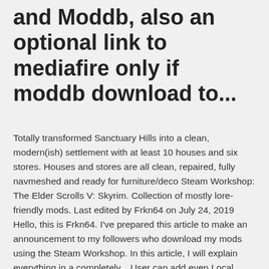and Moddb, also an optional link to mediafire only if moddb download to...
Totally transformed Sanctuary Hills into a clean, modern(ish) settlement with at least 10 houses and six stores. Houses and stores are all clean, repaired, fully navmeshed and ready for furniture/deco Steam Workshop: The Elder Scrolls V: Skyrim. Collection of mostly lore-friendly mods. Last edited by Frkn64 on July 24, 2019 Hello, this is Frkn64. I've prepared this article to make an announcement to my followers who download my mods using the Steam Workshop. In this article, I will explain everything in a completely... User can add even Local mods (=not present on Steam Workshop) to the Launcher list of mods, but only enabling and disabling is supported in this case. Best friend of architecture dumb.